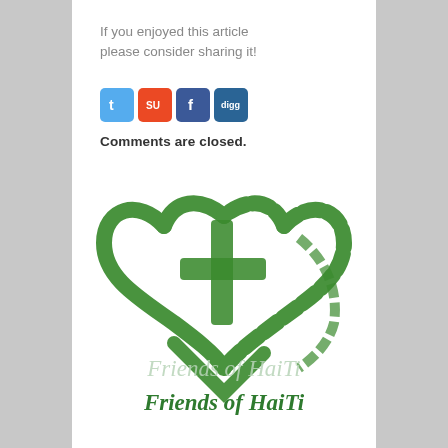If you enjoyed this article please consider sharing it!
[Figure (infographic): Four social media sharing buttons: Twitter (blue bird icon), StumbleUpon (red su icon), Facebook (blue f icon), Digg (blue digg icon)]
Comments are closed.
[Figure (logo): Friends of HaiTi logo: a green brush-stroke heart shape with a cross inside, text 'Friends of HaiTi' in green italic below, with a lighter watermark version of the text behind the heart]